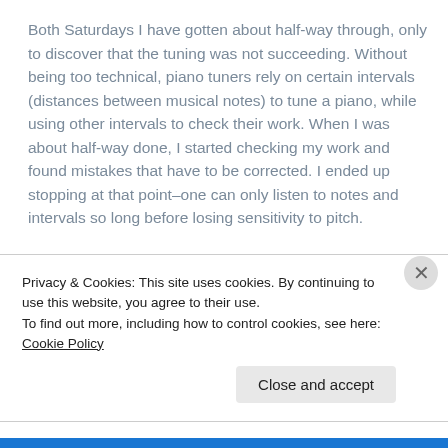Both Saturdays I have gotten about half-way through, only to discover that the tuning was not succeeding. Without being too technical, piano tuners rely on certain intervals (distances between musical notes) to tune a piano, while using other intervals to check their work. When I was about half-way done, I started checking my work and found mistakes that have to be corrected. I ended up stopping at that point–one can only listen to notes and intervals so long before losing sensitivity to pitch.
Possibly the piano is drifting out of tune on its own
Privacy & Cookies: This site uses cookies. By continuing to use this website, you agree to their use.
To find out more, including how to control cookies, see here: Cookie Policy